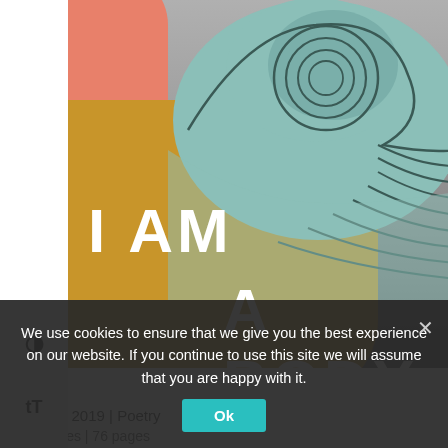[Figure (illustration): Book cover for 'I Am a Body' — features a collaged design with a black-and-white ocean photograph background, a coral/salmon abstract shape upper left, a mustard/gold large organic shape center-left, and a teal illustrated ocean wave overlaid on top. White bold text reads 'I AM' and 'A BODY'.]
We use cookies to ensure that we give you the best experience on our website. If you continue to use this site we will assume that you are happy with it.
Ok
January 2019 | Poetry
8x6 inches | 76 pages